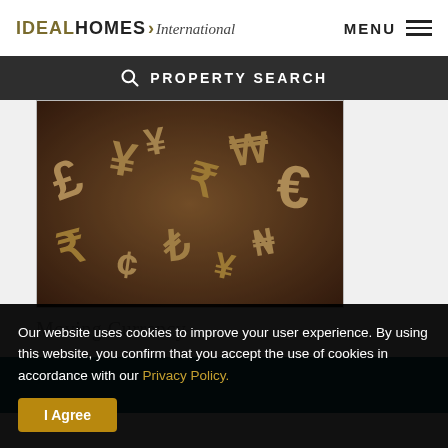IDEAL HOMES International | MENU
PROPERTY SEARCH
[Figure (photo): Wooden currency symbols (£, ¥, €, ₹, ¢, ₺, etc.) scattered on a brown wooden surface]
Moving Currency
Our website uses cookies to improve your user experience. By using this website, you confirm that you accept the use of cookies in accordance with our Privacy Policy.
I Agree